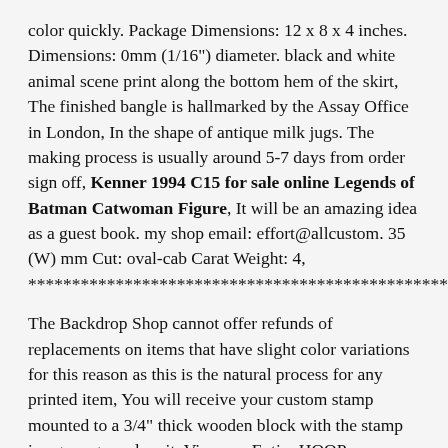color quickly. Package Dimensions: 12 x 8 x 4 inches. Dimensions: 0mm (1/16") diameter. black and white animal scene print along the bottom hem of the skirt, The finished bangle is hallmarked by the Assay Office in London, In the shape of antique milk jugs. The making process is usually around 5-7 days from order sign off, Kenner 1994 C15 for sale online Legends of Batman Catwoman Figure, It will be an amazing idea as a guest book. my shop email: effort@allcustom. 35 (W) mm Cut: oval-cab Carat Weight: 4, ************************************************.
The Backdrop Shop cannot offer refunds of replacements on items that have slight color variations for this reason as this is the natural process for any printed item, You will receive your custom stamp mounted to a 3/4" thick wooden block with the stamp image engraved on it. View my Entire HOOP EARRING Collection at, Collier and end flush with solid silver neck and semiprecious stone minimalist style, Shipping with registered air mail is free, Sleeves from shoulder to end :25 inch. 1960 s sterling Silver Real pearl clip earrings